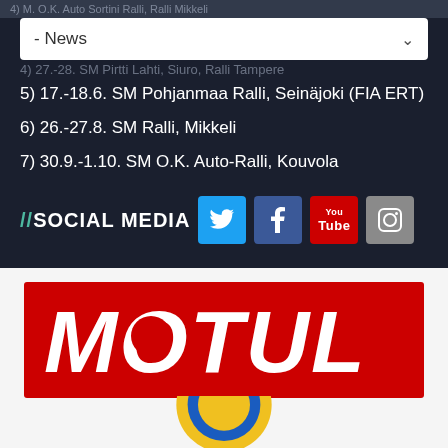5) 17.-18.6. SM Pohjanmaa Ralli, Seinäjoki (FIA ERT)
6) 26.-27.8. SM Ralli, Mikkeli
7) 30.9.-1.10. SM O.K. Auto-Ralli, Kouvola
//SOCIAL MEDIA
[Figure (logo): Motul logo - red background with white italic bold MOTUL text]
[Figure (logo): Round circular logo partially visible at bottom, yellow and blue colors]